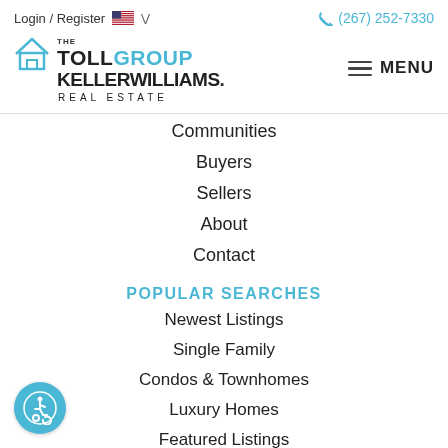Login / Register   🇺🇸 ∨   (267) 252-7330
[Figure (logo): The Toll Group Keller Williams Real Estate logo with house icon]
Communities
Buyers
Sellers
About
Contact
POPULAR SEARCHES
Newest Listings
Single Family
Condos & Townhomes
Luxury Homes
Featured Listings